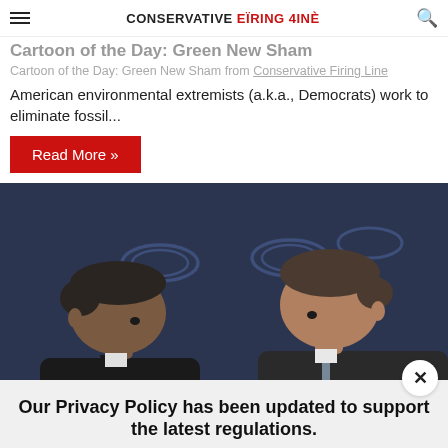CONSERVATIVE FIRING LINE
Cartoon of the Day: Green New Sham
American environmental extremists (a.k.a., Democrats) work to eliminate fossil...
Read More »
[Figure (photo): Two men in suits facing each other and leaning in close, appearing to converse in front of a dark blue backdrop with logos]
Our Privacy Policy has been updated to support the latest regulations. Click to learn more.